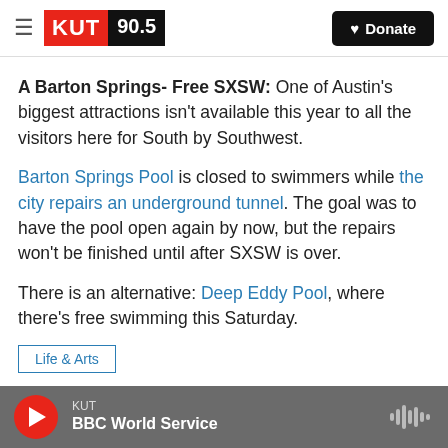KUT 90.5 | Donate
A Barton Springs- Free SXSW: One of Austin's biggest attractions isn't available this year to all the visitors here for South by Southwest.
Barton Springs Pool is closed to swimmers while the city repairs an underground tunnel. The goal was to have the pool open again by now, but the repairs won't be finished until after SXSW is over.
There is an alternative: Deep Eddy Pool, where there's free swimming this Saturday.
Life & Arts
KUT | BBC World Service